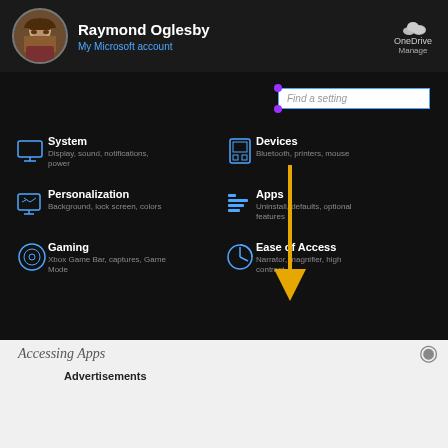[Figure (screenshot): Windows 10 Settings screen showing user profile Raymond Oglesby, OneDrive link, Find a setting search box, and settings categories: System, Devices, Personalization, Apps (with arrow pointing to it), Gaming, Ease of Access. Yellow arrow points from Devices area down to Apps.]
Raymond Oglesby
My Microsoft account
OneDrive
Manage
Find a setting
System
Display, sound, notifications, power
Devices
Bluetooth, printers, mouse
Personalization
Background, lock screen, colors
Apps
Uninstall, defaults, optional features
Gaming
Xbox Game Bar, captures, Game Mode
Ease of Access
Narrator, magnifier, high contrast
Accessing Apps
Advertisements